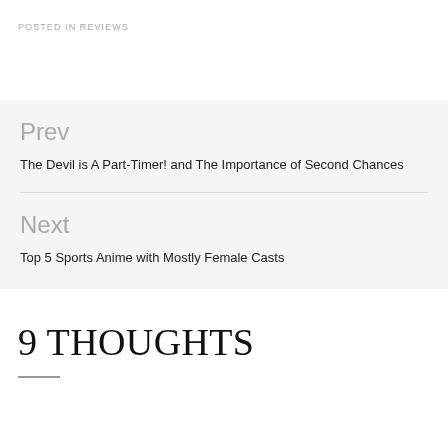POSTED IN REVIEWS
Prev
The Devil is A Part-Timer! and The Importance of Second Chances
Next
Top 5 Sports Anime with Mostly Female Casts
9 THOUGHTS